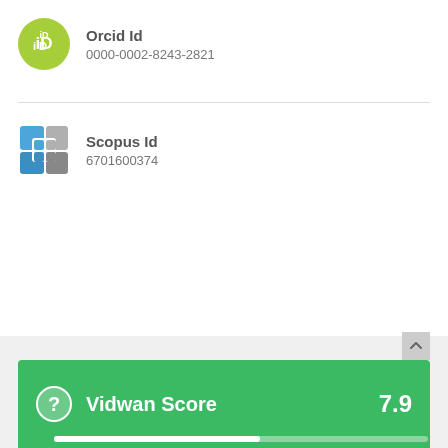[Figure (logo): ORCID green circle logo with white ID text]
Orcid Id
0000-0002-8243-2821
[Figure (logo): Scopus blue and grey puzzle piece logo]
Scopus Id
6701600374
[Figure (infographic): Vidwan Score bar showing score of 7.9 on green background with question mark icon and progress bar]